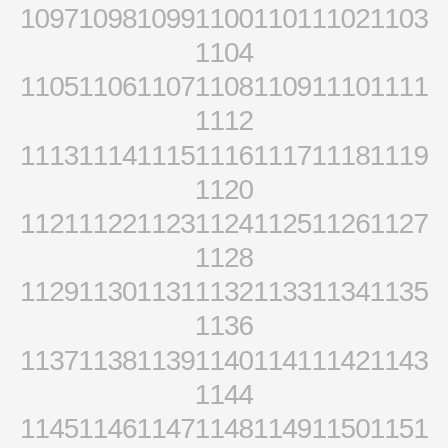1097109810991100110111021103 1104
1105110611071108110911101111 1112
1113111411151116111711181119 1120
1121112211231124112511261127 1128
1129113011311132113311341135 1136
1137113811391140114111421143 1144
1145114611471148114911501151 1152
1153115411551156115711581159 1160
1161116211631164116511661167 1168
1169117011711172117311741175 1176
1177117811791180118111821183 1184
1185118611871188118911901191 1192
1193119411951196119711981199 1200